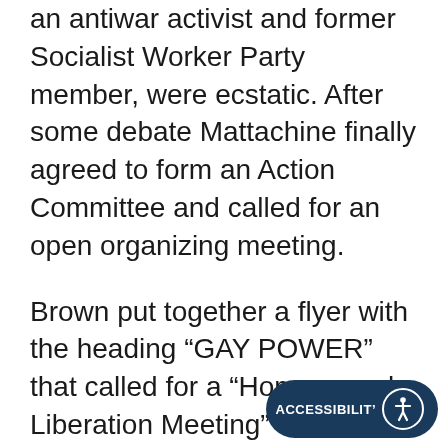an antiwar activist and former Socialist Worker Party member, were ecstatic. After some debate Mattachine finally agreed to form an Action Committee and called for an open organizing meeting.
Brown put together a flyer with the heading “GAY POWER” that called for a “Homosexual Liberation Meeting” and concluded by saying “No one is free until everyone is free!” The first meeting was held two weeks after the riots and drew forty people. It was here that activists first chose the name the Gay Liberation Front (GLF), modeled on